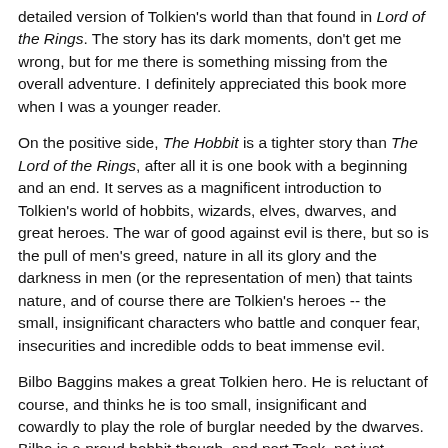detailed version of Tolkien's world than that found in Lord of the Rings. The story has its dark moments, don't get me wrong, but for me there is something missing from the overall adventure. I definitely appreciated this book more when I was a younger reader.
On the positive side, The Hobbit is a tighter story than The Lord of the Rings, after all it is one book with a beginning and an end. It serves as a magnificent introduction to Tolkien's world of hobbits, wizards, elves, dwarves, and great heroes. The war of good against evil is there, but so is the pull of men's greed, nature in all its glory and the darkness in men (or the representation of men) that taints nature, and of course there are Tolkien's heroes -- the small, insignificant characters who battle and conquer fear, insecurities and incredible odds to beat immense evil.
Bilbo Baggins makes a great Tolkien hero. He is reluctant of course, and thinks he is too small, insignificant and cowardly to play the role of burglar needed by the dwarves. Bilbo is a proud hobbit though, and part Took, not just Baggins. Tooks take to adventures, so he accepts the challenge and goes off